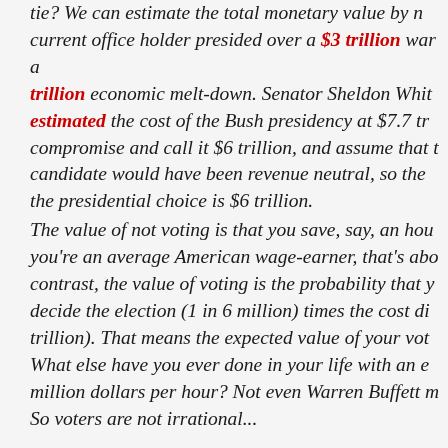tie? We can estimate the total monetary value by noting that the current office holder presided over a $3 trillion war and a $14 trillion economic melt-down. Senator Sheldon Whitehouse estimated the cost of the Bush presidency at $7.7 trillion. Let's compromise and call it $6 trillion, and assume that the alternative candidate would have been revenue neutral, so the value of the presidential choice is $6 trillion. The value of not voting is that you save, say, an hour. If you're an average American wage-earner, that's about $20. In contrast, the value of voting is the probability that your vote will decide the election (1 in 6 million) times the cost difference ($6 trillion). That means the expected value of your vote is $1 million. What else have you ever done in your life with an expected value of a million dollars per hour? Not even Warren Buffett ma... So voters are not irrational...